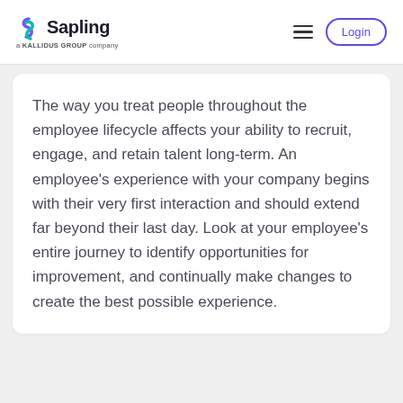Sapling — a KALLIDUS GROUP company | Login
The way you treat people throughout the employee lifecycle affects your ability to recruit, engage, and retain talent long-term. An employee's experience with your company begins with their very first interaction and should extend far beyond their last day. Look at your employee's entire journey to identify opportunities for improvement, and continually make changes to create the best possible experience.